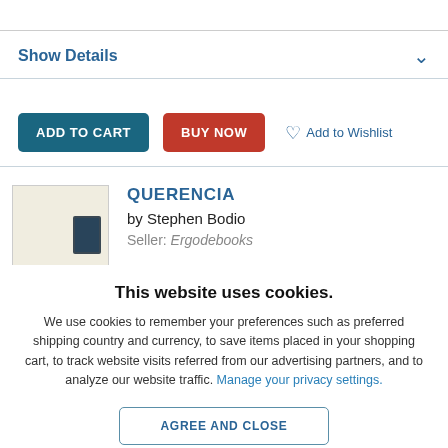Show Details
ADD TO CART  BUY NOW  Add to Wishlist
QUERENCIA by Stephen Bodio Seller: Ergodebooks
This website uses cookies.
We use cookies to remember your preferences such as preferred shipping country and currency, to save items placed in your shopping cart, to track website visits referred from our advertising partners, and to analyze our website traffic. Manage your privacy settings.
AGREE AND CLOSE